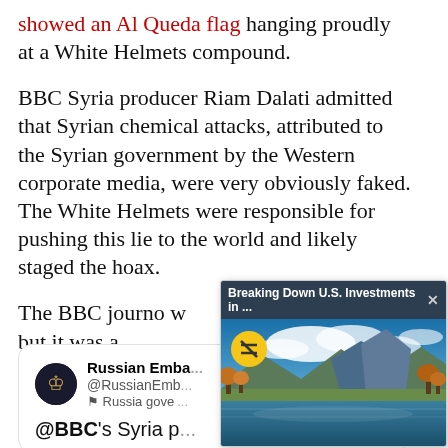showed an Al Queda flag hanging proudly at a White Helmets compound.
BBC Syria producer Riam Dalati admitted that Syrian chemical attacks, attributed to the Syrian government by the Western corporate media, were very obviously faked. The White Helmets were responsible for pushing this lie to the world and likely staged the hoax.
The BBC journo w... Tweet, but it was a...
[Figure (screenshot): Video popup overlay titled 'Breaking Down U.S. Investments in ...' with a landscape nature photo of mountains reflected in a lake, and a muted audio icon button]
[Figure (screenshot): Embedded tweet card from Russian Emba... @RussianEmb... Russia gove... showing beginning of tweet text '@BBC's Syria p...']